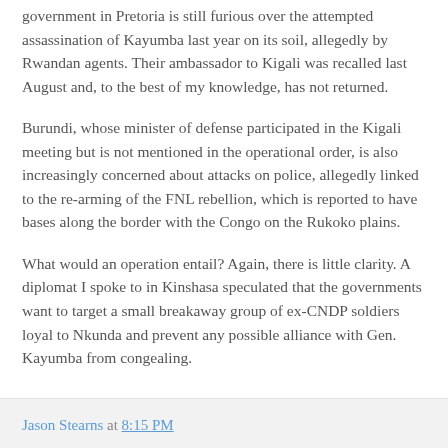government in Pretoria is still furious over the attempted assassination of Kayumba last year on its soil, allegedly by Rwandan agents. Their ambassador to Kigali was recalled last August and, to the best of my knowledge, has not returned.
Burundi, whose minister of defense participated in the Kigali meeting but is not mentioned in the operational order, is also increasingly concerned about attacks on police, allegedly linked to the re-arming of the FNL rebellion, which is reported to have bases along the border with the Congo on the Rukoko plains.
What would an operation entail? Again, there is little clarity. A diplomat I spoke to in Kinshasa speculated that the governments want to target a small breakaway group of ex-CNDP soldiers loyal to Nkunda and prevent any possible alliance with Gen. Kayumba from congealing.
Jason Stearns at 8:15 PM